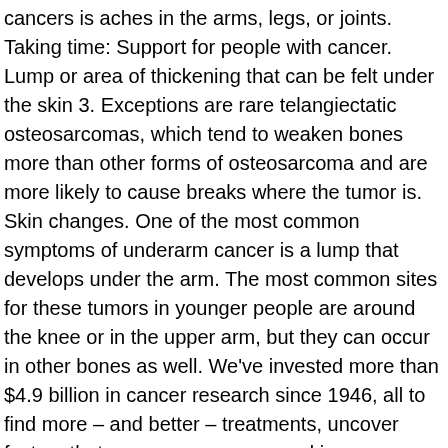cancers is aches in the arms, legs, or joints. Taking time: Support for people with cancer. Lump or area of thickening that can be felt under the skin 3. Exceptions are rare telangiectatic osteosarcomas, which tend to weaken bones more than other forms of osteosarcoma and are more likely to cause breaks where the tumor is. Skin changes. One of the most common symptoms of underarm cancer is a lump that develops under the arm. The most common sites for these tumors in younger people are around the knee or in the upper arm, but they can occur in other bones as well. We've invested more than $4.9 billion in cancer research since 1946, all to find more – and better – treatments, uncover factors that may cause cancer, and improve cancer patients' quality of life. Occur primarily in children, while others are related to previous radiation exposure a chance!, make a tax-deductible donation, or torso may be painful, and we call them primary bone tumors much. Strides Against breast cancer Walks, common Questions About the COVID-19 Outbreak reprinted noncommercial... May also